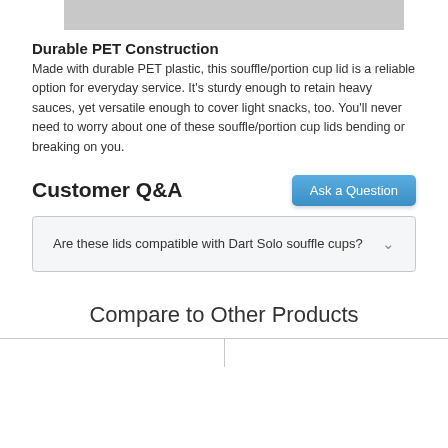[Figure (photo): Gray rectangular image placeholder at top of page]
Durable PET Construction
Made with durable PET plastic, this souffle/portion cup lid is a reliable option for everyday service. It’s sturdy enough to retain heavy sauces, yet versatile enough to cover light snacks, too. You’ll never need to worry about one of these souffle/portion cup lids bending or breaking on you.
Customer Q&A
Are these lids compatible with Dart Solo souffle cups?
Compare to Other Products